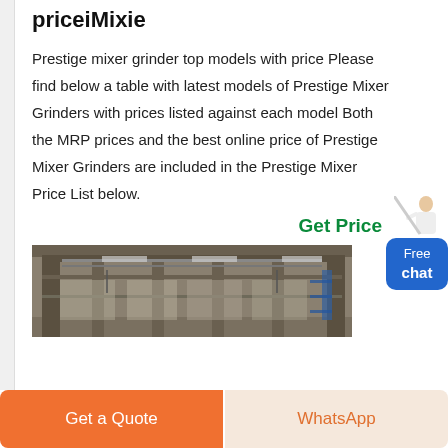priceiMixie
Prestige mixer grinder top models with price Please find below a table with latest models of Prestige Mixer Grinders with prices listed against each model Both the MRP prices and the best online price of Prestige Mixer Grinders are included in the Prestige Mixer Price List below.
Get Price
[Figure (photo): Interior of an industrial factory/warehouse with large open space, overhead cranes, metal columns and structure, concrete floors.]
Get a Quote
WhatsApp